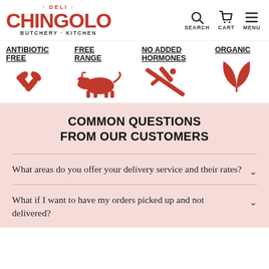[Figure (logo): Chingolo Deli Butchery Kitchen logo in red]
[Figure (infographic): Navigation icons: Search, Cart, Menu]
[Figure (infographic): Four quality icons: Antibiotic Free (pills crossed), Free Range (cow), No Added Hormones (syringe crossed), Organic (leaves)]
COMMON QUESTIONS FROM OUR CUSTOMERS
What areas do you offer your delivery service and their rates?
What if I want to have my orders picked up and not delivered?